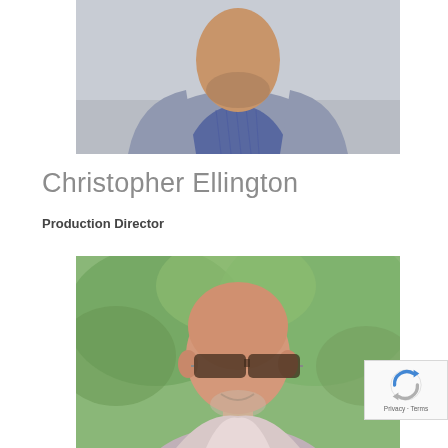[Figure (photo): Professional headshot of a man wearing a blue striped shirt and grey blazer jacket, photographed outdoors with a blurred background]
Christopher Ellington
Production Director
[Figure (photo): Headshot of an older bald man wearing sunglasses and a light-colored shirt, smiling, photographed outdoors with green foliage background]
[Figure (other): reCAPTCHA widget overlay with Privacy and Terms text]